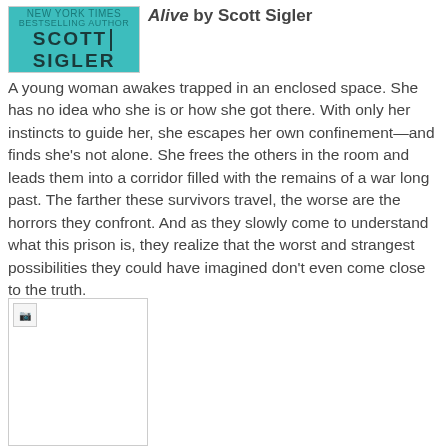[Figure (photo): Book cover for Alive by Scott Sigler — teal/turquoise background with author name SCOTT SIGLER in large bold letters]
Alive by Scott Sigler
A young woman awakes trapped in an enclosed space. She has no idea who she is or how she got there. With only her instincts to guide her, she escapes her own confinement—and finds she's not alone. She frees the others in the room and leads them into a corridor filled with the remains of a war long past. The farther these survivors travel, the worse are the horrors they confront. And as they slowly come to understand what this prison is, they realize that the worst and strangest possibilities they could have imagined don't even come close to the truth.
[Figure (photo): Second book cover image — broken/missing image placeholder]